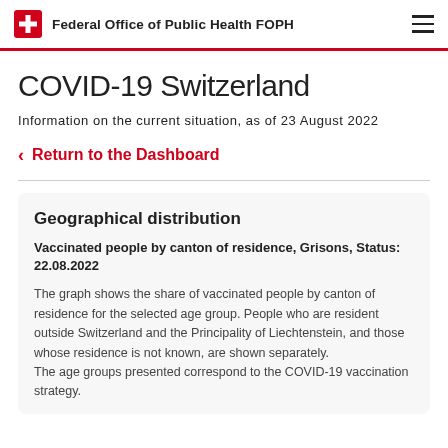Federal Office of Public Health FOPH
COVID-19 Switzerland
Information on the current situation, as of 23 August 2022
< Return to the Dashboard
Geographical distribution
Vaccinated people by canton of residence, Grisons, Status: 22.08.2022
The graph shows the share of vaccinated people by canton of residence for the selected age group. People who are resident outside Switzerland and the Principality of Liechtenstein, and those whose residence is not known, are shown separately.
The age groups presented correspond to the COVID-19 vaccination strategy.